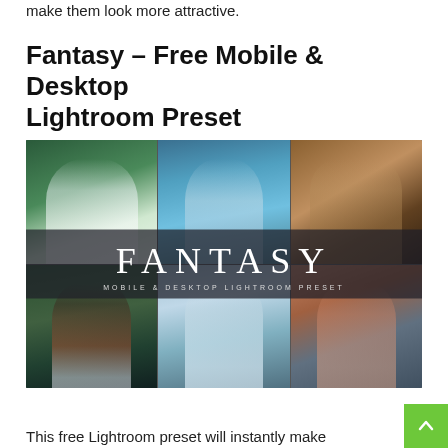make them look more attractive.
Fantasy – Free Mobile & Desktop Lightroom Preset
[Figure (photo): Promotional collage image for Fantasy Lightroom preset showing six fantasy-styled portrait photos arranged in a 3x2 grid with a dark semi-transparent banner overlay reading FANTASY / MOBILE & DESKTOP LIGHTROOM PRESET]
This free Lightroom preset will instantly make